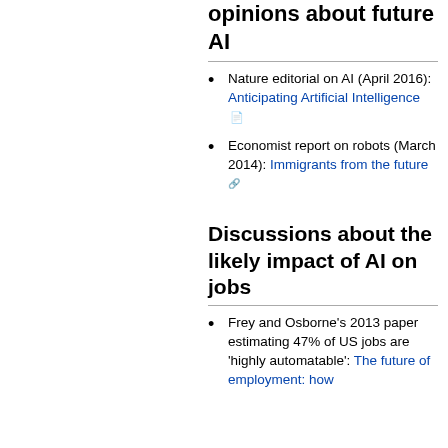...htful reports and opinions about future AI
Nature editorial on AI (April 2016): Anticipating Artificial Intelligence [pdf]
Economist report on robots (March 2014): Immigrants from the future [external link]
Discussions about the likely impact of AI on jobs
Frey and Osborne's 2013 paper estimating 47% of US jobs are 'highly automatable': The future of employment: how...